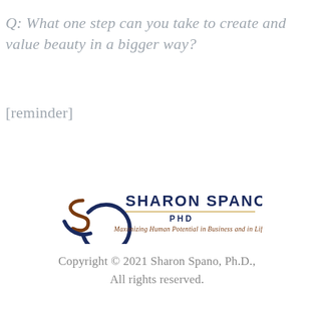Q: What one step can you take to create and value beauty in a bigger way?
[reminder]
[Figure (logo): Sharon Spano PHD logo — stylized S symbol in navy and brown with text 'SHARON SPANO PHD' and tagline 'Maximizing Human Potential in Business and in Life']
Copyright © 2021 Sharon Spano, Ph.D., All rights reserved.